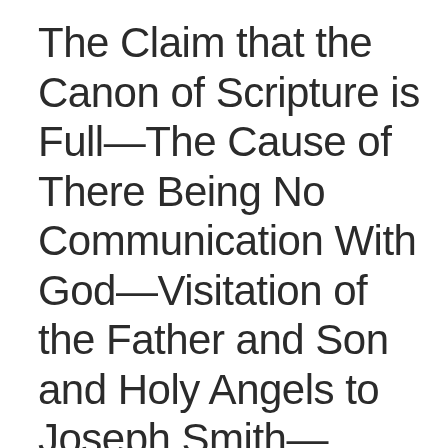The Claim that the Canon of Scripture is Full—The Cause of There Being No Communication With God—Visitation of the Father and Son and Holy Angels to Joseph Smith—Mahomed—The World Have No Idea of the Character of God—Restoration of the